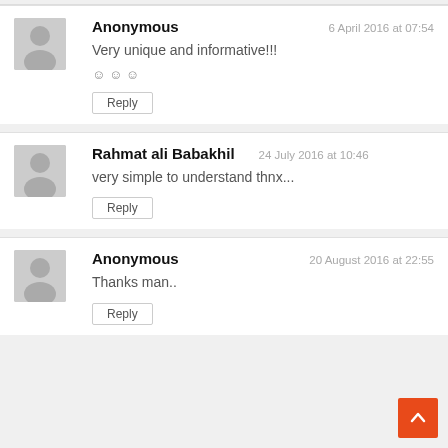Anonymous — 6 April 2016 at 07:54
Very unique and informative!!!
☺ ☺ ☺
Rahmat ali Babakhil — 24 July 2016 at 10:46
very simple to understand thnx...
Anonymous — 20 August 2016 at 22:55
Thanks man..